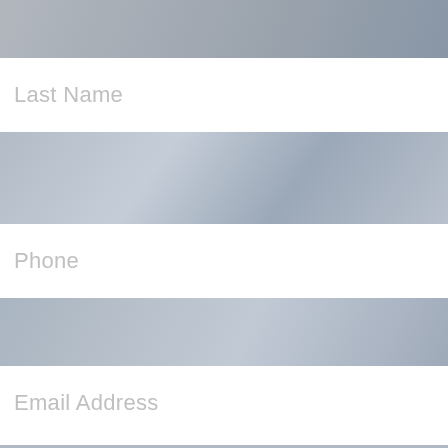[Figure (screenshot): Web contact form screenshot showing form fields (Last Name, Phone, Email Address, Comments) overlaid on blurred photo background, with reCAPTCHA widget and scroll-to-top button at bottom]
Last Name
Phone
Email Address
Comments
I'm not a robot
reCAPTCHA